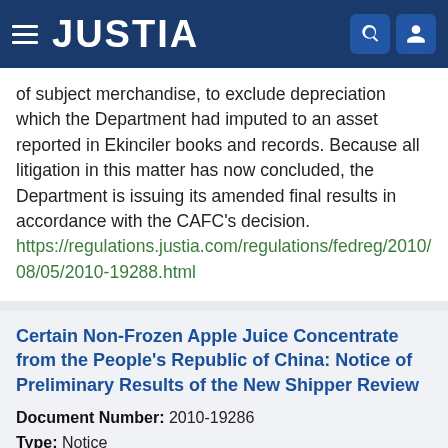JUSTIA
of subject merchandise, to exclude depreciation which the Department had imputed to an asset reported in Ekinciler books and records. Because all litigation in this matter has now concluded, the Department is issuing its amended final results in accordance with the CAFC's decision.
https://regulations.justia.com/regulations/fedreg/2010/08/05/2010-19288.html
Certain Non-Frozen Apple Juice Concentrate from the People's Republic of China: Notice of Preliminary Results of the New Shipper Review
Document Number: 2010-19286
Type: Notice
Date: 2010-08-05
Agency: Department of Commerce, International Trade